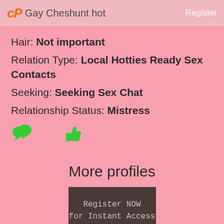cP Gay Cheshunt hot    Register
Hair: Not important
Relation Type: Local Hotties Ready Sex Contacts
Seeking: Seeking Sex Chat
Relationship Status: Mistress
[Figure (illustration): Two green emoji-style icons: a speech bubble icon and a thumbs up icon]
More profiles
[Figure (screenshot): Dark brownish-grey box with text: Register NOW for Instant Access]